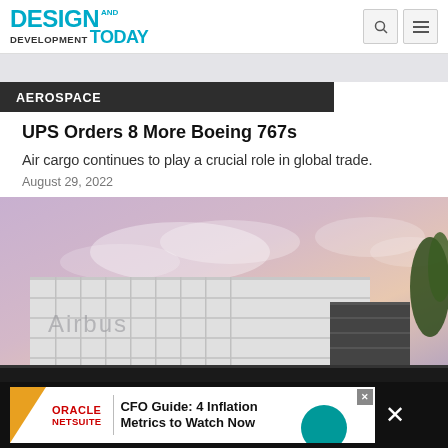DESIGN AND DEVELOPMENT TODAY
AEROSPACE
UPS Orders 8 More Boeing 767s
Air cargo continues to play a crucial role in global trade.
August 29, 2022
[Figure (photo): Exterior of an Airbus facility building with purple/pink sky in background]
[Figure (screenshot): Oracle NetSuite advertisement banner: CFO Guide: 4 Inflation Metrics to Watch Now]